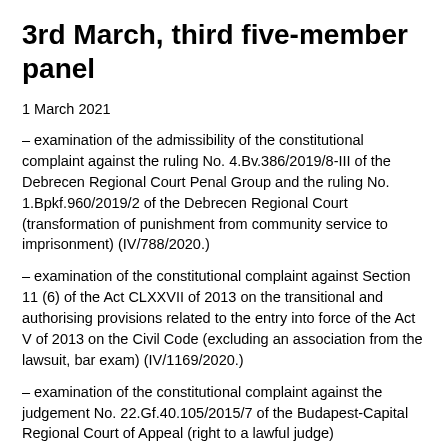3rd March, third five-member panel
1 March 2021
– examination of the admissibility of the constitutional complaint against the ruling No. 4.Bv.386/2019/8-III of the Debrecen Regional Court Penal Group and the ruling No. 1.Bpkf.960/2019/2 of the Debrecen Regional Court (transformation of punishment from community service to imprisonment) (IV/788/2020.)
– examination of the constitutional complaint against Section 11 (6) of the Act CLXXVII of 2013 on the transitional and authorising provisions related to the entry into force of the Act V of 2013 on the Civil Code (excluding an association from the lawsuit, bar exam) (IV/1169/2020.)
– examination of the constitutional complaint against the judgement No. 22.Gf.40.105/2015/7 of the Budapest-Capital Regional Court of Appeal (right to a lawful judge) (IV/577/2016.)
– examination of the admissibility of the constitutional complaint against the ruling No. Pfv.III.21.717/2019/2 of the